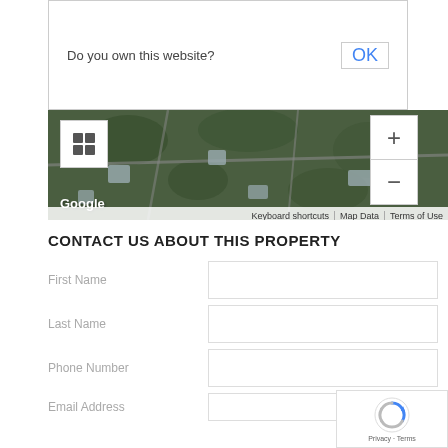[Figure (screenshot): Google Maps satellite view with 'Do you own this website?' dialog overlay, layer toggle button, zoom controls (+/-), Google label, and map attribution bar with 'Keyboard shortcuts', 'Map Data', 'Terms of Use']
CONTACT US ABOUT THIS PROPERTY
First Name
Last Name
Phone Number
Email Address